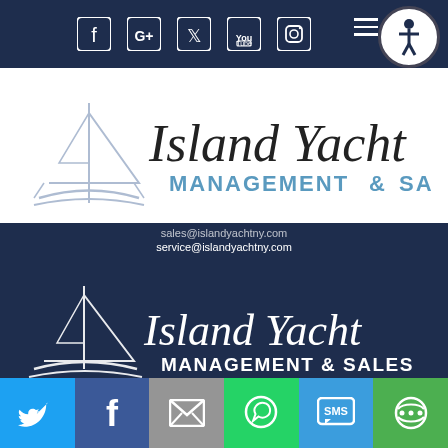[Figure (screenshot): Dark navy top navigation bar with social media icons: Facebook, Google+, Twitter, YouTube, Instagram. Accessibility button circle on right.]
[Figure (logo): Island Yacht Management & Sales logo - white/light blue on white background with sailboat graphic]
sales@islandyachtny.com
service@islandyachtny.com
[Figure (logo): Island Yacht Management & Sales logo - white on dark navy background with sailboat graphic]
CONNECT WITH US
[Figure (screenshot): Social media icons row on dark navy: Facebook, Google+, Twitter, YouTube, Instagram]
[Figure (screenshot): Bottom share bar with 6 colored buttons: Twitter (blue), Facebook (dark blue), Email (gray), WhatsApp (green), SMS (blue), Other (green)]